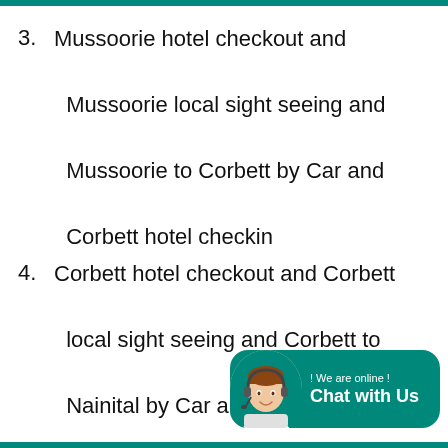3. Mussoorie hotel checkout and Mussoorie local sight seeing and Mussoorie to Corbett by Car and Corbett hotel checkin
4. Corbett hotel checkout and Corbett local sight seeing and Corbett to Nainital by Car and Nainital hote checkin
5. Nainital full day Car and fll nigh[t ...]
[Figure (infographic): Chat with Us widget: teal rounded rectangle with female avatar with headset, text '! We are online !' and 'Chat with Us' in bold white]